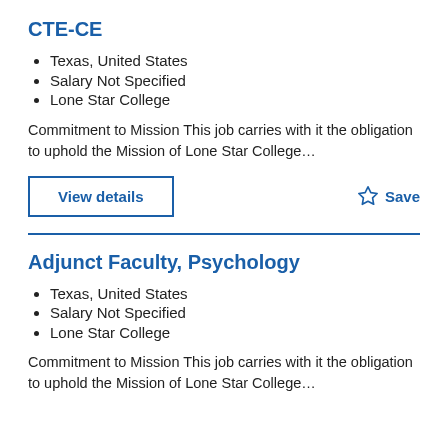CTE-CE
Texas, United States
Salary Not Specified
Lone Star College
Commitment to Mission This job carries with it the obligation to uphold the Mission of Lone Star College…
View details
Save
Adjunct Faculty, Psychology
Texas, United States
Salary Not Specified
Lone Star College
Commitment to Mission This job carries with it the obligation to uphold the Mission of Lone Star College…